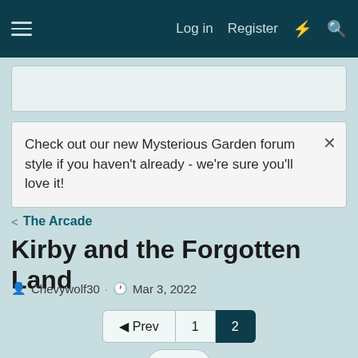Log in  Register
Check out our new Mysterious Garden forum style if you haven't already - we're sure you'll love it!
< The Arcade
Kirby and the Forgotten Land
Chevywolf30 · Mar 3, 2022
◄ Prev  1  2  ...
This site uses cookies to help personalise content, tailor your experience and to keep you logged in if you register.
By continuing to use this site, you are consenting to our use of cookies.
✓ Accept  Learn more...